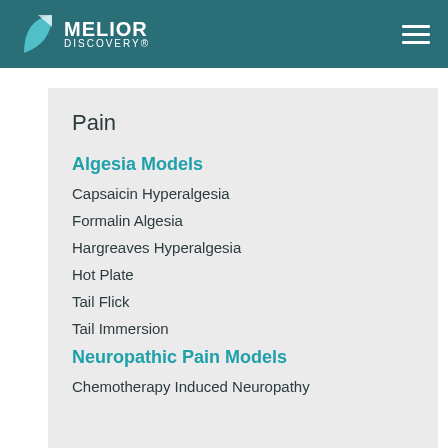Melior Discovery
Pain
Algesia Models
Capsaicin Hyperalgesia
Formalin Algesia
Hargreaves Hyperalgesia
Hot Plate
Tail Flick
Tail Immersion
Neuropathic Pain Models
Chemotherapy Induced Neuropathy